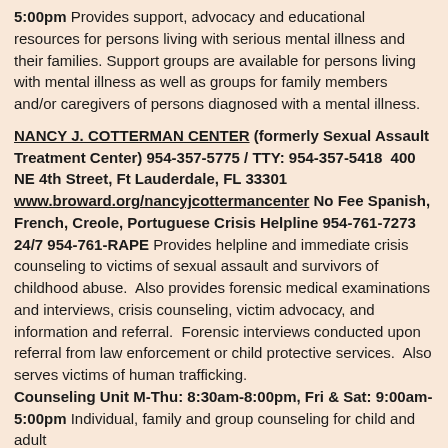5:00pm Provides support, advocacy and educational resources for persons living with serious mental illness and their families. Support groups are available for persons living with mental illness as well as groups for family members and/or caregivers of persons diagnosed with a mental illness.
NANCY J. COTTERMAN CENTER (formerly Sexual Assault Treatment Center) 954-357-5775 / TTY: 954-357-5418  400 NE 4th Street, Ft Lauderdale, FL 33301 www.broward.org/nancyjcottermancenter No Fee Spanish, French, Creole, Portuguese Crisis Helpline 954-761-7273 24/7 954-761-RAPE Provides helpline and immediate crisis counseling to victims of sexual assault and survivors of childhood abuse. Also provides forensic medical examinations and interviews, crisis counseling, victim advocacy, and information and referral. Forensic interviews conducted upon referral from law enforcement or child protective services. Also serves victims of human trafficking. Counseling Unit M-Thu: 8:30am-8:00pm, Fri & Sat: 9:00am-5:00pm Individual, family and group counseling for child and adult